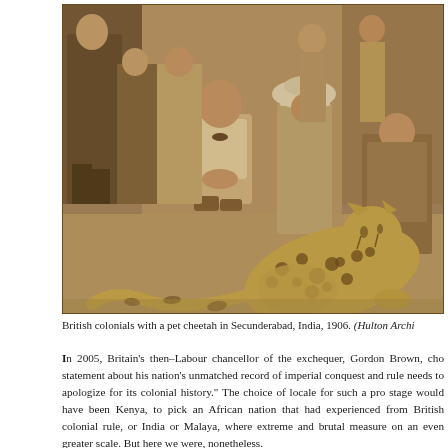[Figure (photo): Sepia-toned historical photograph showing British colonials posing with a pet cheetah in Secunderabad, India, 1906. Multiple men in colonial attire are visible, one seated centrally with clasped hands, and a cheetah is prominently featured in the foreground.]
British colonials with a pet cheetah in Secunderabad, India, 1906. (Hulton Archi...
In 2005, Britain's then–Labour chancellor of the exchequer, Gordon Brown, cho... statement about his nation's unmatched record of imperial conquest and rule... needs to apologize for its colonial history." The choice of locale for such a pro... stage would have been Kenya, to pick an African nation that had experienced... from British colonial rule, or India or Malaya, where extreme and brutal measure... on an even greater scale. But here we were, nonetheless.